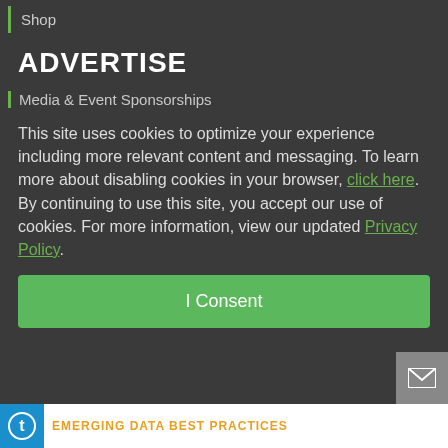Shop
ADVERTISE
Media & Event Sponsorships
This site uses cookies to optimize your experience including more relevant content and messaging. To learn more about disabling cookies in your browser, click here.  By continuing to use this site, you accept our use of cookies. For more information, view our updated Privacy Policy.
I Consent
EMERGING DATA BEST PRACTICES